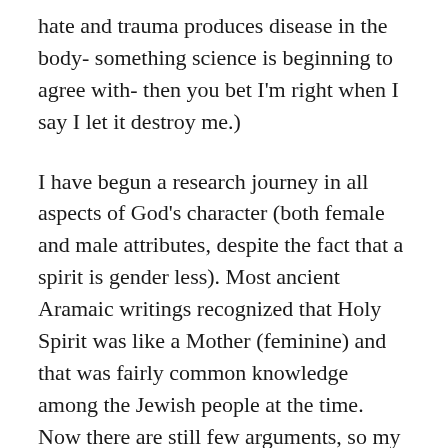hate and trauma produces disease in the body- something science is beginning to agree with- then you bet I'm right when I say I let it destroy me.)
I have begun a research journey in all aspects of God's character (both female and male attributes, despite the fact that a spirit is gender less). Most ancient Aramaic writings recognized that Holy Spirit was like a Mother (feminine) and that was fairly common knowledge among the Jewish people at the time. Now there are still few arguments, so my research goes on. The more I dig the more God's showing me that I'm asking the wrong questions. It's not about male vs female, two camps constantly competing with each other- a personal understanding based on social and religious aspects and lessons I've learned from the society around me- rather, it's about a unified merge of the two in constant good